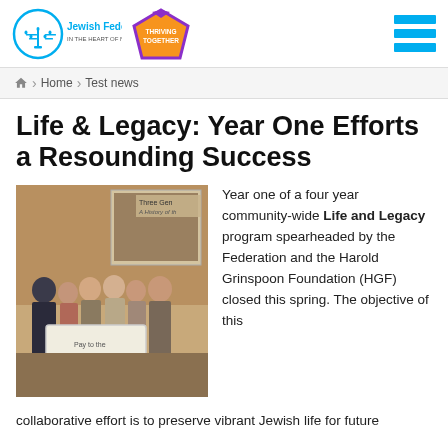Jewish Federation in the Heart of New Jersey | Thriving Together
Home > Test news
Life & Legacy: Year One Efforts a Resounding Success
[Figure (photo): Group of people posing together holding a large check inside a building with historical photos on the wall. Text visible: 'Three Gen A History of th']
Year one of a four year community-wide Life and Legacy program spearheaded by the Federation and the Harold Grinspoon Foundation (HGF) closed this spring. The objective of this collaborative effort is to preserve vibrant Jewish life for future